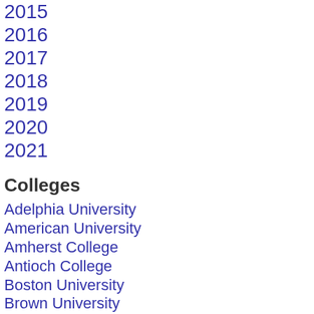2015
2016
2017
2018
2019
2020
2021
Colleges
Adelphia University
American University
Amherst College
Antioch College
Boston University
Brown University
College of William and Mary
Colorado College
Columbia University